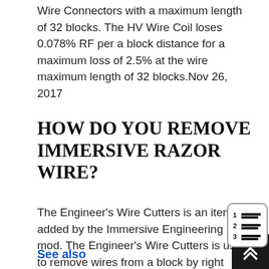Wire Connectors with a maximum length of 32 blocks. The HV Wire Coil loses 0.078% RF per a block distance for a maximum loss of 2.5% at the wire maximum length of 32 blocks.Nov 26, 2017
HOW DO YOU REMOVE IMMERSIVE RAZOR WIRE?
The Engineer's Wire Cutters is an item added by the Immersive Engineering mod. The Engineer's Wire Cutters is used to remove wires from a block by right clicking on the block. The wire will drop when using the Engineer's Wire Cutters and can be picked up and reused.Dec 30, 2015
See also